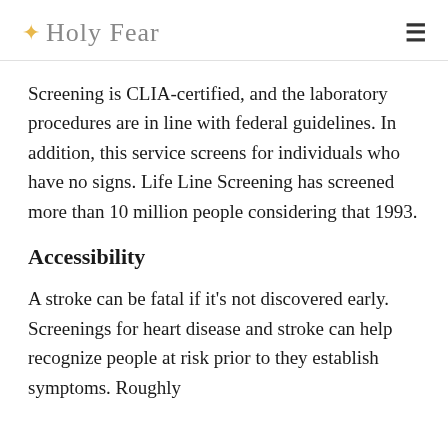✦ Holy Fear
Screening is CLIA-certified, and the laboratory procedures are in line with federal guidelines. In addition, this service screens for individuals who have no signs. Life Line Screening has screened more than 10 million people considering that 1993.
Accessibility
A stroke can be fatal if it's not discovered early. Screenings for heart disease and stroke can help recognize people at risk prior to they establish symptoms. Roughly